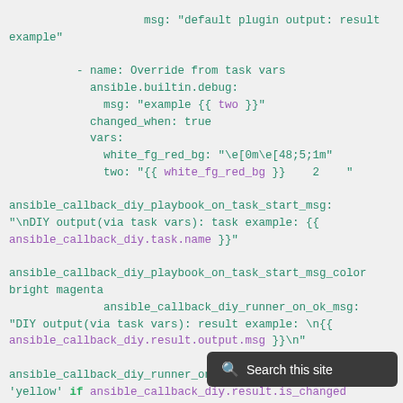msg: "default plugin output: result example"

      - name: Override from task vars
        ansible.builtin.debug:
          msg: "example {{ two }}"
        changed_when: true
        vars:
          white_fg_red_bg: "\e[0m\e[48;5;1m"
          two: "{{ white_fg_red_bg }}    2    "

ansible_callback_diy_playbook_on_task_start_msg:
"
DIY output(via task vars): task example: {{ ansible_callback_diy.task.name }}"

ansible_callback_diy_playbook_on_task_start_msg_color
bright magenta
              ansible_callback_diy_runner_on_ok_msg:
"DIY output(via task vars): result example: 
{{ ansible_callback_diy.result.output.msg }}
"

ansible_callback_diy_runner_on_ok_msg_color: "{{
'yellow' if ansible_callback_diy.result.is_changed
else 'bright green' }}"

      - name: Suppress output
        ansible.builtin.debug: